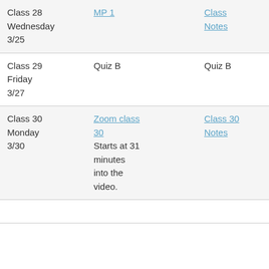| Class/Day/Date | Activity/Link | Resources |
| --- | --- | --- |
| Class 28
Wednesday
3/25 | MP 1 | Class
Notes |
| Class 29
Friday
3/27 | Quiz B | Quiz B |
| Class 30
Monday
3/30 | Zoom class 30
Starts at 31 minutes into the video. | Class 30 Notes |